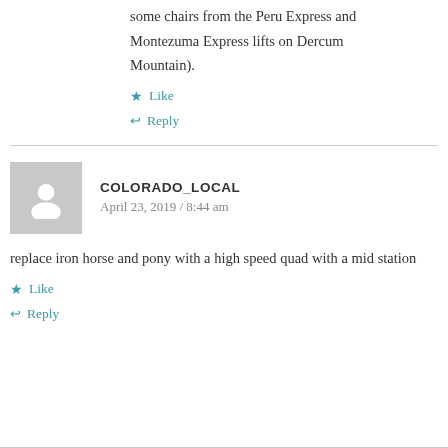some chairs from the Peru Express and Montezuma Express lifts on Dercum Mountain).
★ Like
↩ Reply
COLORADO_LOCAL
April 23, 2019 / 8:44 am
replace iron horse and pony with a high speed quad with a mid station
★ Like
↩ Reply